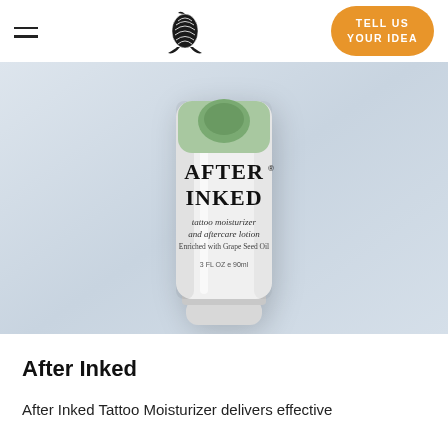TELL US YOUR IDEA
[Figure (photo): A white squeeze tube of After Inked Tattoo Moisturizer and Aftercare Lotion enriched with Grape Seed Oil, 3 FL OZ / 90ml, photographed against a light blue-grey background.]
After Inked
After Inked Tattoo Moisturizer delivers effective